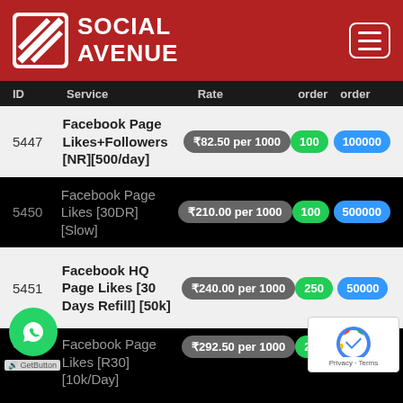SOCIAL AVENUE
| ID | Service | Rate | Min order | Max order |
| --- | --- | --- | --- | --- |
| 5447 | Facebook Page Likes+Followers [NR][500/day] | ₹82.50 per 1000 | 100 | 100000 |
| 5450 | Facebook Page Likes [30DR] [Slow] | ₹210.00 per 1000 | 100 | 500000 |
| 5451 | Facebook HQ Page Likes [30 Days Refill] [50k] | ₹240.00 per 1000 | 250 | 50000 |
| 5... | Facebook Page Likes [R30] [10k/Day] | ₹292.50 per 1000 | 200 |  |